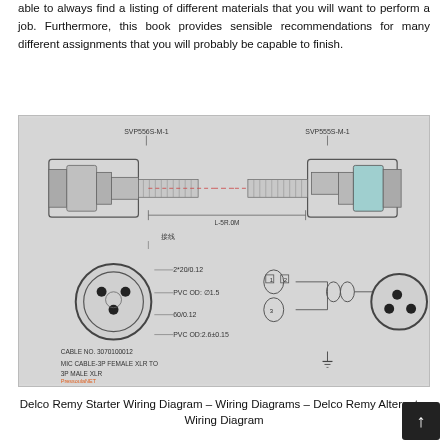able to always find a listing of different materials that you will want to perform a job. Furthermore, this book provides sensible recommendations for many different assignments that you will probably be capable to finish.
[Figure (schematic): Technical engineering schematic of a MIC CABLE-3P FEMALE XLR TO 3P MALE XLR connector assembly. Shows cross-sectional side view of SVP556S-M-1 and SVP555S-M-1 connectors joined by cable, with dimension L-5R.0M. Lower half shows circular end-face views with wiring specs: 2*20/0.12, PVC OD: ∅1.5, 60/0.12, PVC OD:2.6±0.15. CABLE NO. 3070100012. Also shows wiring diagram with numbered pins 1, 2, 3. Watermark: PressoulaNET.]
Delco Remy Starter Wiring Diagram – Wiring Diagrams – Delco Remy Alternator Wiring Diagram